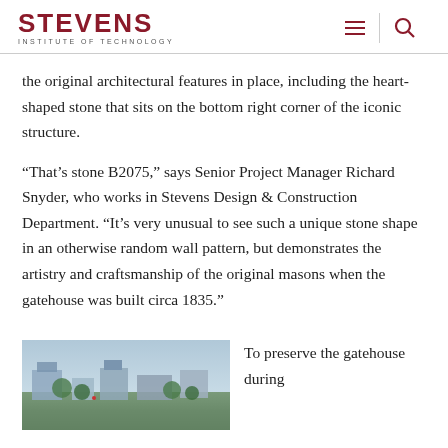STEVENS INSTITUTE OF TECHNOLOGY
the original architectural features in place, including the heart-shaped stone that sits on the bottom right corner of the iconic structure.
“That’s stone B2075,” says Senior Project Manager Richard Snyder, who works in Stevens Design & Construction Department. “It’s very unusual to see such a unique stone shape in an otherwise random wall pattern, but demonstrates the artistry and craftsmanship of the original masons when the gatehouse was built circa 1835.”
[Figure (photo): Aerial or overhead photograph showing the gatehouse and surrounding area with trees and buildings]
To preserve the gatehouse during